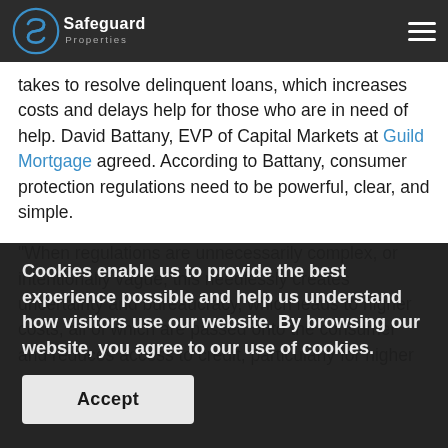Safeguard Properties
takes to resolve delinquent loans, which increases costs and delays help for those who are in need of help. David Battany, EVP of Capital Markets at Guild Mortgage agreed. According to Battany, consumer protection regulations need to be powerful, clear, and simple.
“When regulations are unnecessarily complex, or intentionally vague, this needlessly creates uncertainty and bureaucracy, which leads to higher costs, all of which are passed onto the consumer and reduces access to credit, particularly for higher
Cookies enable us to provide the best experience possible and help us understand how visitors use our website. By browsing our website, you agree to our use of cookies.
Accept